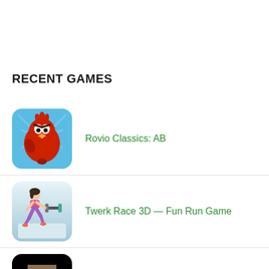RECENT GAMES
Rovio Classics: AB
Twerk Race 3D — Fun Run Game
Bloody Bastards